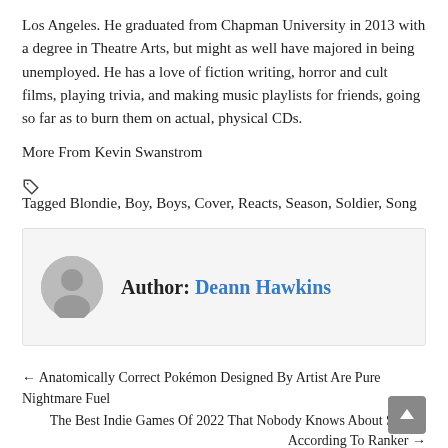Los Angeles. He graduated from Chapman University in 2013 with a degree in Theatre Arts, but might as well have majored in being unemployed. He has a love of fiction writing, horror and cult films, playing trivia, and making music playlists for friends, going so far as to burn them on actual, physical CDs.
More From Kevin Swanstrom
Tagged Blondie, Boy, Boys, Cover, Reacts, Season, Soldier, Song
Author: Deann Hawkins
← Anatomically Correct Pokémon Designed By Artist Are Pure Nightmare Fuel
The Best Indie Games Of 2022 That Nobody Knows About So Far, According To Ranker →